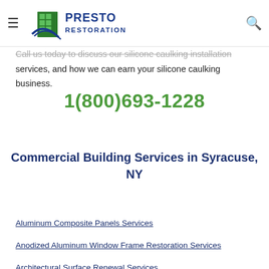Presto Restoration
Call us today to discuss our silicone caulking installation services, and how we can earn your silicone caulking business.
1(800)693-1228
Commercial Building Services in Syracuse, NY
Aluminum Composite Panels Services
Anodized Aluminum Window Frame Restoration Services
Architectural Surface Renewal Services